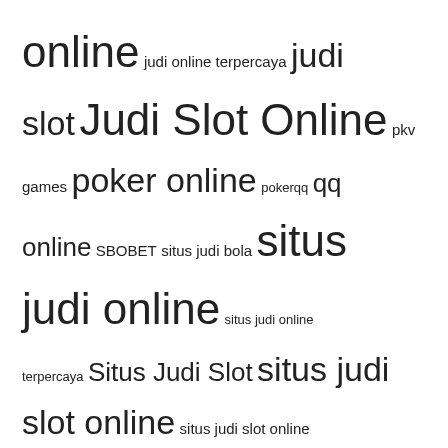[Figure (other): Tag cloud of gambling/gaming related keywords in Indonesian, with varying font sizes indicating frequency/importance. Terms include: online, judi online terpercaya, judi slot, Judi Slot Online, pkv games, poker online, pokerqq, qq online, SBOBET, situs judi bola, situs judi online, situs judi online terpercaya, Situs Judi Slot, situs judi slot online, situs judi slot online terpercaya, situs poker online, situs slot, situs slot online, situs slot online terbaik, slot, Slot88, slot deposit pulsa, Slot Gacor, Slot Online, slot online indonesia, Slot Online Terbaik, Slot Online Terlengkap, slot online terpercaya, togel online]
About Us   Contact Us   Privacy Policy